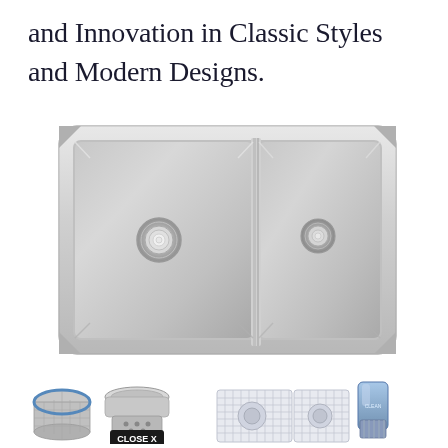and Innovation in Classic Styles and Modern Designs.
[Figure (photo): Stainless steel double basin undermount kitchen sink with two drain openings, viewed from above. The sink has a brushed finish and features two basins separated by a divider, with rounded corner cuts on the outer edges.]
[Figure (photo): Row of kitchen sink accessories including: a strainer basket (cylindrical mesh), a drain strainer assembly, two wire sink grid protectors side by side, and a blue cleaning brush. There is a 'CLOSE X' button overlay on the image.]